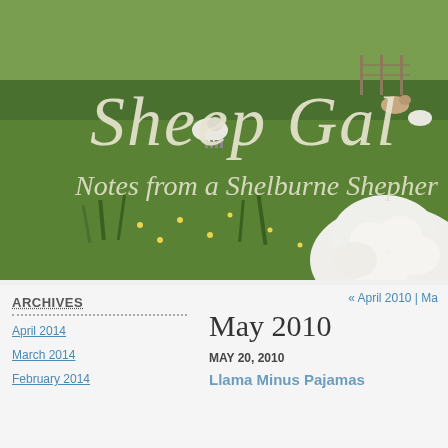[Figure (photo): Blog header image showing a green grassy field with sheep grazing. Overlay text reads 'Sheep Gal' in large handwritten style font and 'Notes from a Shelburne Shepherd' below it. A close-up of a white fluffy sheep is visible in the lower right corner.]
ARCHIVES
April 2014
March 2014
February 2014
« April 2010 | Ma
May 2010
MAY 20, 2010
Llama Minus Pajamas